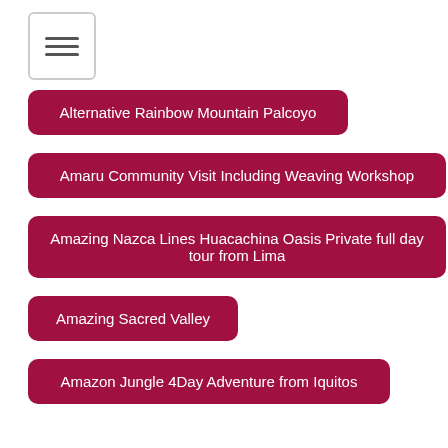[Figure (other): Hamburger menu icon button with three horizontal lines]
Alternative Rainbow Mountain Palcoyo
Amaru Community Visit Including Weaving Workshop
Amazing Nazca Lines Huacachina Oasis Private full day tour from Lima
Amazing Sacred Valley
Amazon Jungle 4Day Adventure from Iquitos